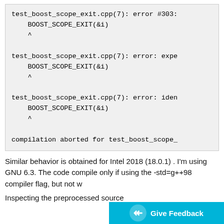test_boost_scope_exit.cpp(7): error #303:
    BOOST_SCOPE_EXIT(&i)
    ^

test_boost_scope_exit.cpp(7): error: expe
    BOOST_SCOPE_EXIT(&i)
    ^

test_boost_scope_exit.cpp(7): error: iden
    BOOST_SCOPE_EXIT(&i)
    ^

compilation aborted for test_boost_scope_
Similar behavior is obtained for Intel 2018 (18.0.1) . I'm using GNU 6.3. The code compile only if using the -std=g++98 compiler flag, but not w
Inspecting the preprocessed source